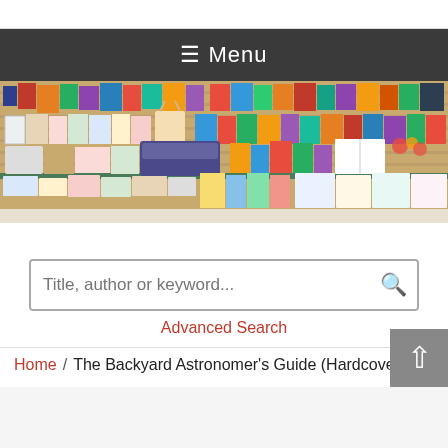☰ Menu
[Figure (photo): Bookstore display wall covered with colorful books, cards, and merchandise arranged on wooden slat wall panels with items on a table in front]
Title, author or keyword...
Advanced Search
Home / The Backyard Astronomer's Guide (Hardcover)